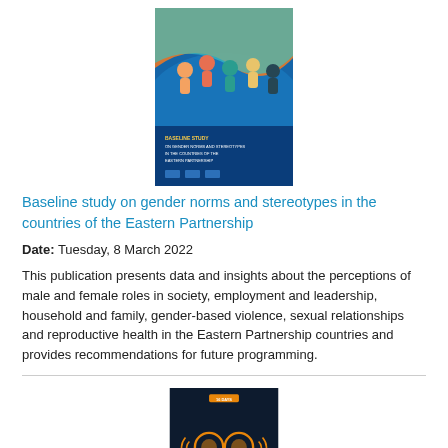[Figure (illustration): Book cover for 'Baseline Study on Gender Norms and Stereotypes in the Countries of the Eastern Partnership' — colorful illustrated cover with diverse people figures and blue/orange design]
Baseline study on gender norms and stereotypes in the countries of the Eastern Partnership
Date: Tuesday, 8 March 2022
This publication presents data and insights about the perceptions of male and female roles in society, employment and leadership, household and family, gender-based violence, sexual relationships and reproductive health in the Eastern Partnership countries and provides recommendations for future programming.
[Figure (illustration): Book cover for '16 Days of Activism Against Gender-Based Violence Campaign' — dark navy cover with orange/gold decorative elements and text]
16 Days of Activism Against Gender-Based Violence Campaign